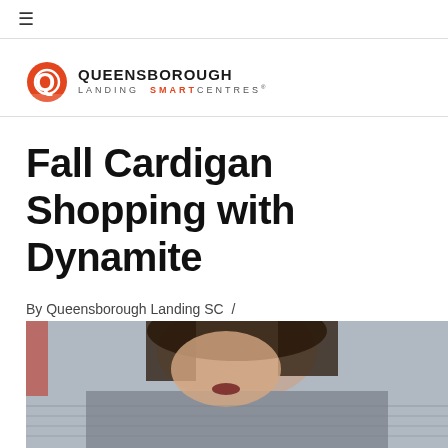≡
[Figure (logo): Queensborough Landing SmartCentres logo with red Q icon and text]
Fall Cardigan Shopping with Dynamite
By Queensborough Landing SC / September 28, 2017 / Collaborations, Fashion Trends
[Figure (photo): Photo of a woman in a grey knit cardigan, smiling, close-up shot]